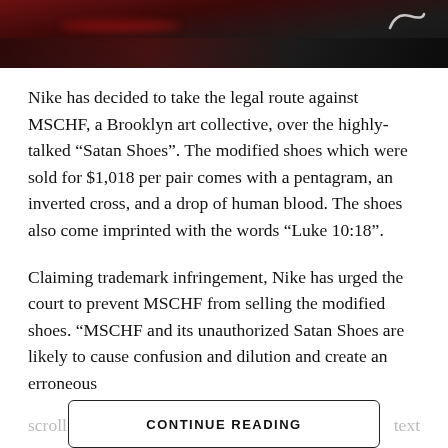[Figure (photo): Close-up photo of a dark Nike sneaker (appears to be a Nike Air Max) with red accents visible, Nike swoosh logo visible in upper right corner. Dark red and black color scheme.]
Nike has decided to take the legal route against MSCHF, a Brooklyn art collective, over the highly-talked “Satan Shoes”. The modified shoes which were sold for $1,018 per pair comes with a pentagram, an inverted cross, and a drop of human blood. The shoes also come imprinted with the words “Luke 10:18”.
Claiming trademark infringement, Nike has urged the court to prevent MSCHF from selling the modified shoes. “MSCHF and its unauthorized Satan Shoes are likely to cause confusion and dilution and create an erroneous association between MSCHF’s products and Nike,” as stated in the lawsuit. The Satan Shoes were made by modifying the Nike Air Max 97s.